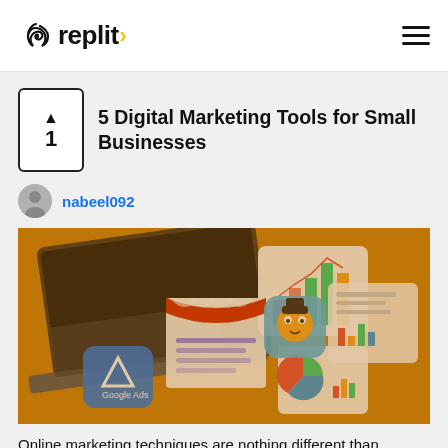replit
5 Digital Marketing Tools for Small Businesses
nabeel092
[Figure (photo): Hero image with amber/orange tint showing a laptop, digital marketing tool icons including Google Ads, a shop awning icon, bar charts, a Mailchimp monkey icon, and analytics dashboards]
Online marketing techniques are nothing different than